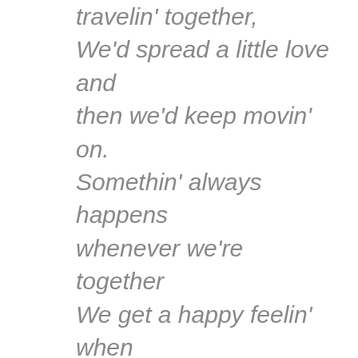travelin' together,
We'd spread a little love and then we'd keep movin' on.
Somethin' always happens whenever we're together
We get a happy feelin' when we're singing a song.

Trav'lin' along there's a song that we're singin'
C'mon get happy!
A Whole lot of lovin' is what we'll be bringin'
we'll be...